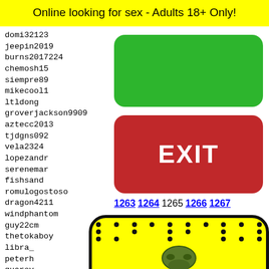Online looking for sex - Adults 18+ Only!
domi32123
jeepin2019
burns2017224
chemosh15
siempre89
mikecool1
ltldong
groverjackson9909
aztecc2013
tjdgns092
vela2324
lopezandr
serenemar
fishsand
romulogostoso
dragon4211
windphantom
guy22cm
thetokaboy
libra_
peterh
guarov
fluffy
teddyb
matt8i
joharu
[Figure (screenshot): Green button (no label) and red EXIT button overlaying the user list, plus Snapchat ghost icon at bottom]
1263 1264 1265 1266 1267